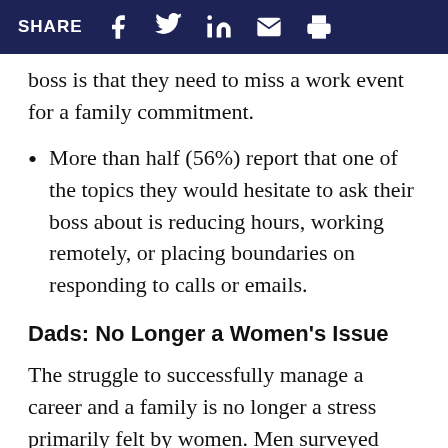SHARE
boss is that they need to miss a work event for a family commitment.
More than half (56%) report that one of the topics they would hesitate to ask their boss about is reducing hours, working remotely, or placing boundaries on responding to calls or emails.
Dads: No Longer a Women's Issue
The struggle to successfully manage a career and a family is no longer a stress primarily felt by women. Men surveyed admit to being stressed out by child care needs during the work day as well as their ability to achieve a good work/life